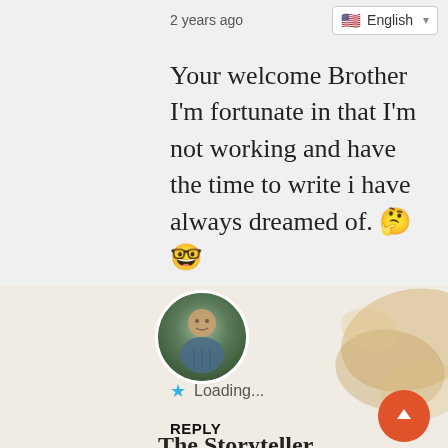2 years ago
English
Your welcome Brother I'm fortunate in that I'm not working and have the time to write i have always dreamed of. 🤔🤓
Loading...
REPLY
[Figure (photo): Circular avatar photo of a man in a checkered shirt outdoors]
[Figure (photo): Decorative sand/golden texture pattern in background]
The Storyteller